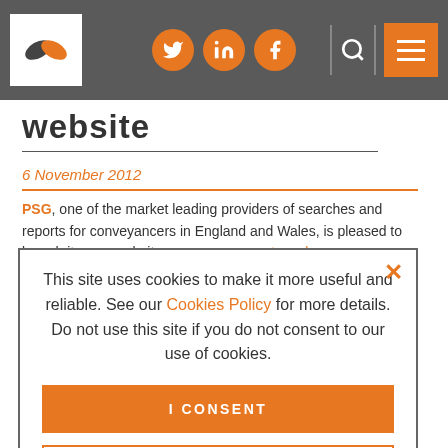Navigation bar with logo, social icons (Twitter, LinkedIn, Facebook), search, and menu
website
6 November 2012
PSG, one of the market leading providers of searches and reports for conveyancers in England and Wales, is pleased to launch its new website: www.psgconnect.co.uk.
[Figure (screenshot): Cookie consent overlay dialog with text: This site uses cookies to make it more useful and reliable. See our Cookies Policy for more details. Do not use this site if you do not consent to our use of cookies. With buttons: I CONSENT and SEE COOKIE POLICY]